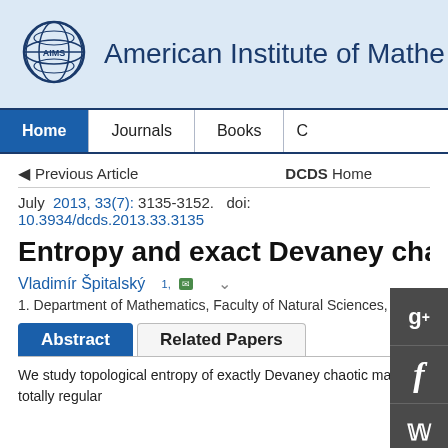American Institute of Mathe...
Home | Journals | Books | C...
Previous Article    DCDS Home
July  2013, 33(7): 3135-3152.   doi: 10.3934/dcds.2013.33.3135
Entropy and exact Devaney chaos...
Vladimír Špitalský 1,
1. Department of Mathematics, Faculty of Natural Sciences, Matej Bel Un...
Abstract   Related Papers
We study topological entropy of exactly Devaney chaotic maps on totally regular...